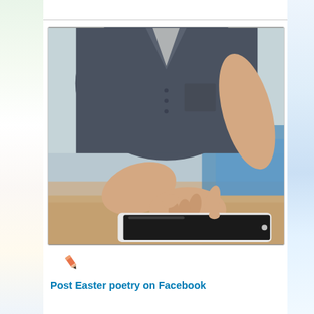[Figure (photo): A person in a dark grey shirt touching a tablet device with their index finger. The tablet has a black screen with a white border. The scene is on a wooden surface. Another arm is visible in the background.]
[Figure (illustration): A small red/orange pencil icon]
Post Easter poetry on Facebook